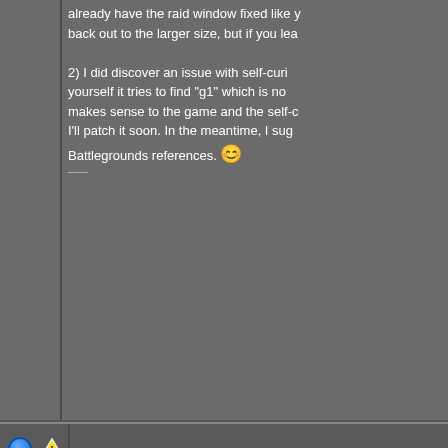already have the raid window fixed like y back out to the larger size, but if you lea
2) I did discover an issue with self-curing yourself it tries to find "g1" which is nom makes sense to the game and the self-c I'll patch it soon. In the meantime, I sugg Battlegrounds references.
[Figure (other): Blue circle icon and warning triangle icon in separator row]
09-02-2010, 06:10 PM
eqmavic
A Young Mystail Rat
Server: Antonia Bayle
Forum posts: 4
File comments: 3
Uploads: 0
Trying to get the group / raid frames wor none of the quick casting are actually we the buttons don't work, they have the ico icon and doesn't work either.

any ideas?

I didn't test raid because group wasn't w

edit: I did have the old version working, like.

Here is the spell code part: